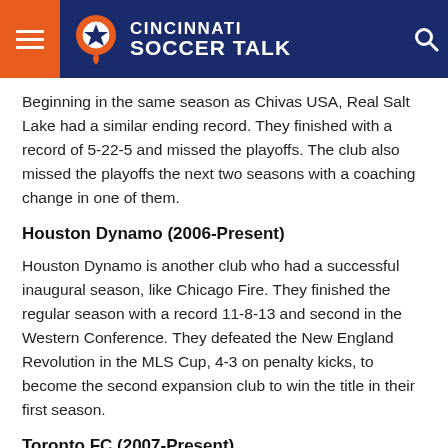Cincinnati Soccer Talk
Beginning in the same season as Chivas USA, Real Salt Lake had a similar ending record. They finished with a record of 5-22-5 and missed the playoffs. The club also missed the playoffs the next two seasons with a coaching change in one of them.
Houston Dynamo (2006-Present)
Houston Dynamo is another club who had a successful inaugural season, like Chicago Fire. They finished the regular season with a record 11-8-13 and second in the Western Conference. They defeated the New England Revolution in the MLS Cup, 4-3 on penalty kicks, to become the second expansion club to win the title in their first season.
Toronto FC (2007-Present)